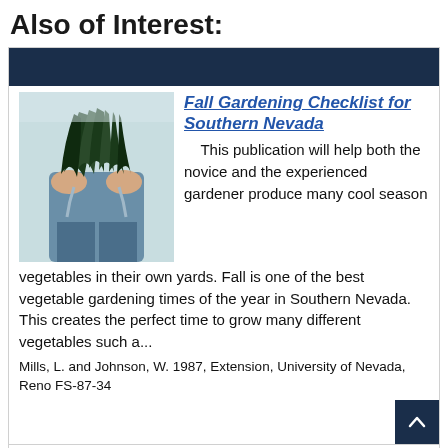Also of Interest:
[Figure (photo): Person holding a bouquet of dark leafy kale vegetables, wearing jeans and a denim apron]
Fall Gardening Checklist for Southern Nevada
This publication will help both the novice and the experienced gardener produce many cool season vegetables in their own yards. Fall is one of the best vegetable gardening times of the year in Southern Nevada. This creates the perfect time to grow many different vegetables such a...
Mills, L. and Johnson, W. 1987, Extension, University of Nevada, Reno FS-87-34
Basics of Crop Management